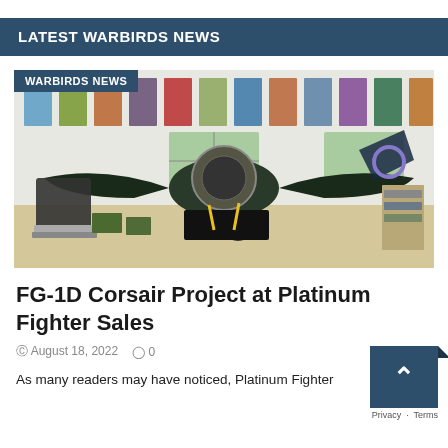LATEST WARBIRDS NEWS
[Figure (photo): FG-1D Corsair aircraft disassembled in a hangar with various components laid out on the floor. Aviation posters hang on the white walls in the background. An overlay label reads WARBIRDS NEWS.]
FG-1D Corsair Project at Platinum Fighter Sales
August 18, 2022   0
As many readers may have noticed, Platinum Fighter